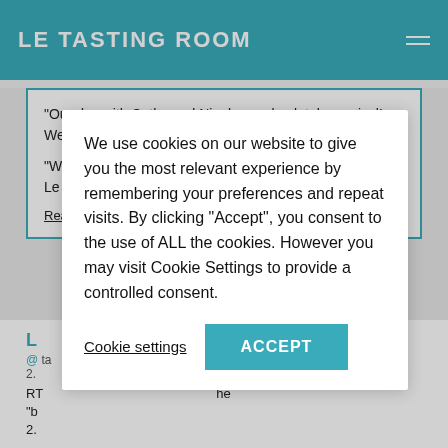LE TASTING ROOM
“Our day with Cathy and Nigel was absolutely magical! We have taken wine tours around the...” more
“We do a lot of wine tours when travelling to wine regions, Le Tasting Room Wine...” more
Read reviews | Write a review
L
@ ta 2.
RT ... the "b" 2.
RT @AleEsteves7: ‘Earliest ever’ Bordeaux harvest begins via @i... https://t... #BORDEAUX... 23 d Ago for Twitter
We use cookies on our website to give you the most relevant experience by remembering your preferences and repeat visits. By clicking “Accept”, you consent to the use of ALL the cookies. However you may visit Cookie Settings to provide a controlled consent.
Cookie settings
ACCEPT